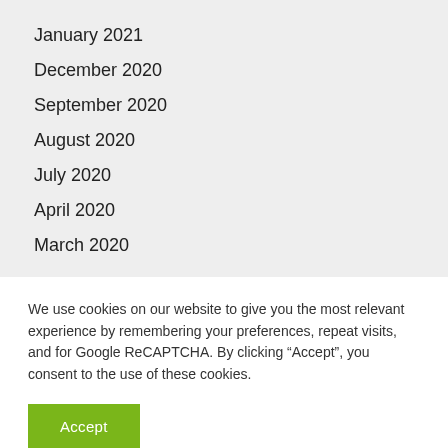January 2021
December 2020
September 2020
August 2020
July 2020
April 2020
March 2020
We use cookies on our website to give you the most relevant experience by remembering your preferences, repeat visits, and for Google ReCAPTCHA. By clicking “Accept”, you consent to the use of these cookies.
Accept